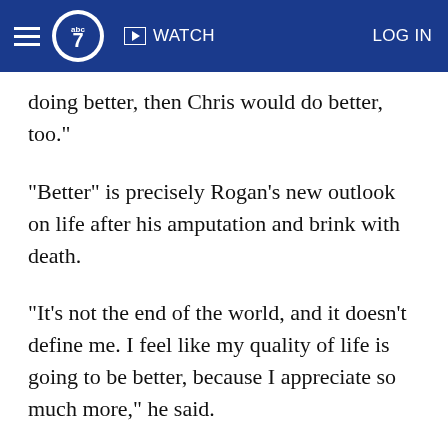ABC7 — WATCH | LOG IN
doing better, then Chris would do better, too."
"Better" is precisely Rogan's new outlook on life after his amputation and brink with death.
"It's not the end of the world, and it doesn't define me. I feel like my quality of life is going to be better, because I appreciate so much more," he said.